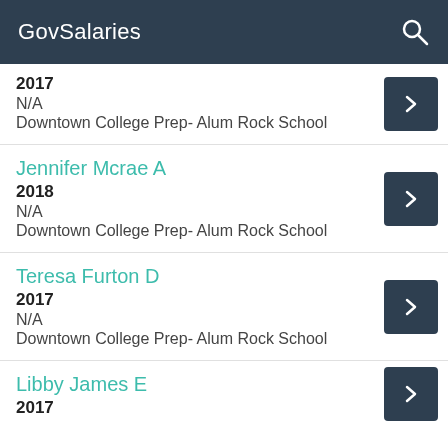GovSalaries
2017 | N/A | Downtown College Prep- Alum Rock School
Jennifer Mcrae A | 2018 | N/A | Downtown College Prep- Alum Rock School
Teresa Furton D | 2017 | N/A | Downtown College Prep- Alum Rock School
Libby James E | 2017